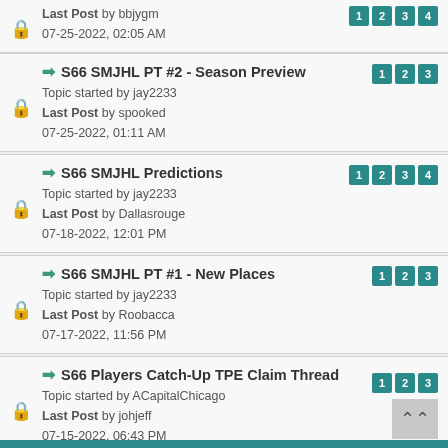Topic started by jay2233 Last Post by bbjygm 07-25-2022, 02:05 AM — pages 1 2 3 4
S66 SMJHL PT #2 - Season Preview — Topic started by jay2233 Last Post by spooked 07-25-2022, 01:11 AM — pages 1 2 3
S66 SMJHL Predictions — Topic started by jay2233 Last Post by Dallasrouge 07-18-2022, 12:01 PM — pages 1 2 3 4
S66 SMJHL PT #1 - New Places — Topic started by jay2233 Last Post by Roobacca 07-17-2022, 11:56 PM — pages 1 2 3
S66 Players Catch-Up TPE Claim Thread — Topic started by ACapitalChicago Last Post by johjeff 07-15-2022, 06:43 PM — pages 1 2 3